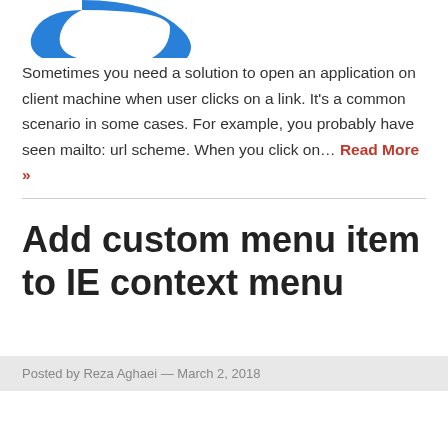[Figure (logo): Blue stylized logo shape (partial C or bracket form) at top left]
Sometimes you need a solution to open an application on client machine when user clicks on a link. It's a common scenario in some cases. For example, you probably have seen mailto: url scheme. When you click on… Read More »
Add custom menu item to IE context menu
Posted by Reza Aghaei — March 2, 2018